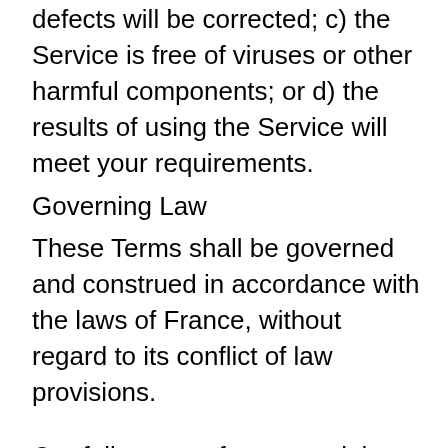defects will be corrected; c) the Service is free of viruses or other harmful components; or d) the results of using the Service will meet your requirements.
Governing Law
These Terms shall be governed and construed in accordance with the laws of France, without regard to its conflict of law provisions.
Our failure to enforce any right or provision of these Terms will not be considered a waiver of those rights. If any provision of these Terms is held to be invalid or unenforceable by a court, the remaining provisions of these Terms will